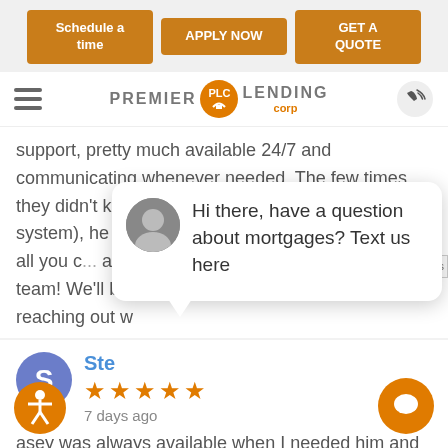[Figure (screenshot): Website screenshot of Premier Lending Corp with navigation buttons, logo, review text, and chat popup]
Schedule a time | APPLY NOW | GET A QUOTE
[Figure (logo): Premier PLC Lending corp logo with orange circle]
support, pretty much available 24/7 and communicating whenever needed. The few times they didn't know something or misunderstood (new system), he remedied as fast as he could, which is all you can ask!Thanks for all your help Michael and team! We'll be reaching out w
Hi there, have a question about mortgages? Text us here
Ste
★★★★★
7 days ago
asey was always available when I needed him and very knowledgeable.